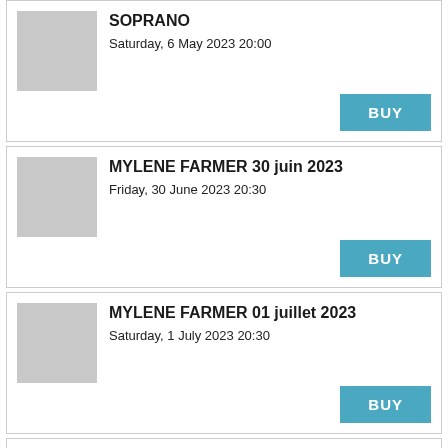SOPRANO
Saturday, 6 May 2023 20:00
BUY
MYLENE FARMER 30 juin 2023
Friday, 30 June 2023 20:30
BUY
MYLENE FARMER 01 juillet 2023
Saturday, 1 July 2023 20:30
BUY